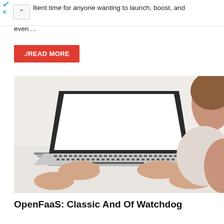↑ llient time for anyone wanting to launch, boost, and even ...
llient time for anyone wanting to launch, boost, and even ...
./READ MORE
[Figure (photo): Person typing on a laptop with a blank white screen, viewed from behind and to the side. The person's hands are on the keyboard.]
OpenFaaS: Classic And Of Watchdog